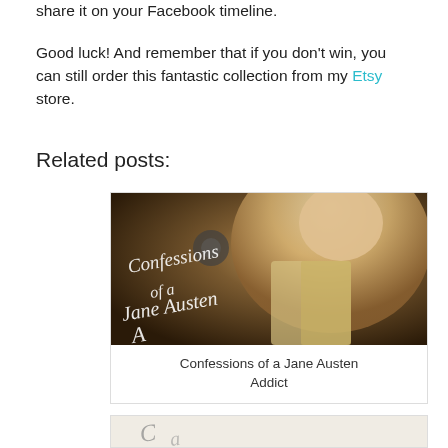share it on your Facebook timeline.
Good luck! And remember that if you don't win, you can still order this fantastic collection from my Etsy store.
Related posts:
[Figure (photo): Book cover image for 'Confessions of a Jane Austen Addict' showing a Regency-era woman in a yellow dress with stylized text overlay]
Confessions of a Jane Austen Addict
[Figure (photo): Partial book cover image showing cursive script, partially cropped at bottom of page]